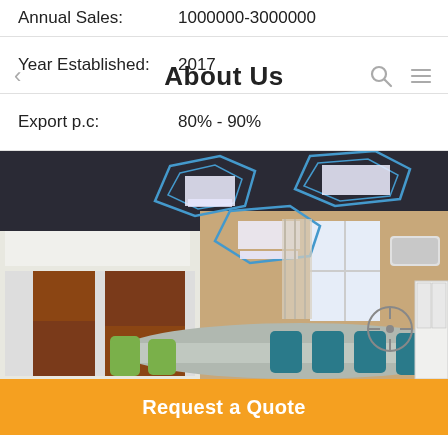Annual Sales: 1000000-3000000
Year Established: 2017
About Us
Export p.c: 80% - 90%
[Figure (photo): Office/meeting room interior photo showing a dark ceiling with blue geometric decorative light fixtures, a long conference table with teal and green chairs, wooden and white cabinet panels on the left wall, a window in the center, an air conditioner on the right wall, and a white display cabinet on the far right.]
Request a Quote